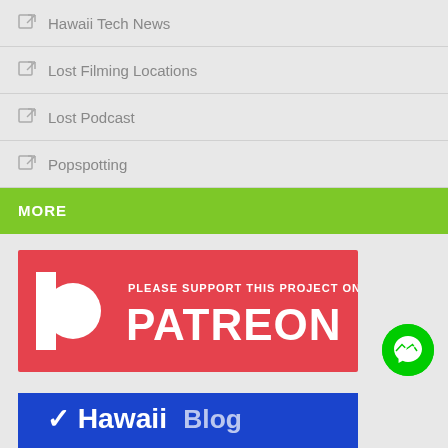Hawaii Tech News
Lost Filming Locations
Lost Podcast
Popspotting
MORE
[Figure (logo): Patreon support banner - red background with Patreon logo and text PLEASE SUPPORT THIS PROJECT ON PATREON]
[Figure (logo): Facebook Messenger button - green circle with white messenger icon]
[Figure (logo): Blue banner at bottom, partially visible]